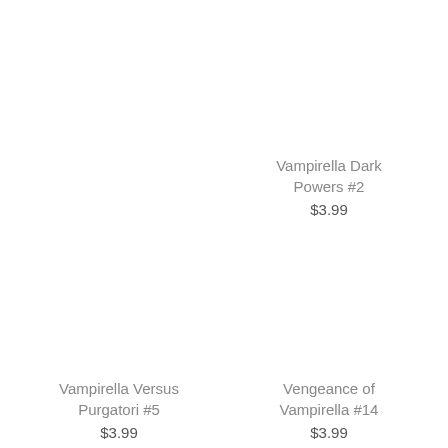Vampirella Dark Powers #2
$3.99
Vampirella Versus Purgatori #5
$3.99
Vengeance of Vampirella #14
$3.99